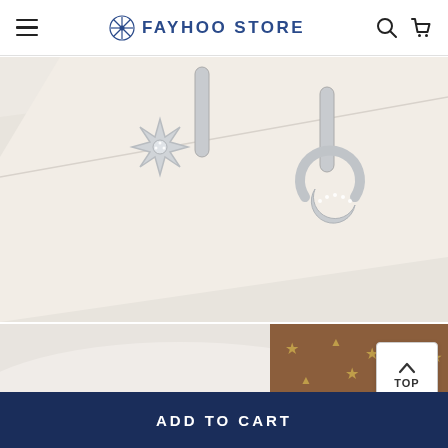FAYHOO STORE
[Figure (photo): Close-up photo of silver star and moon asymmetric earrings on a light beige background. One earring features a star-burst shape with crystals, the other a crescent moon shape with crystals, both on small hoop-style backs.]
[Figure (photo): Partial photo showing a brown Louis Vuitton-style accessory with gold star patterns and white fabric in background, with a 'TOP' scroll-to-top button overlay in bottom right.]
ADD TO CART